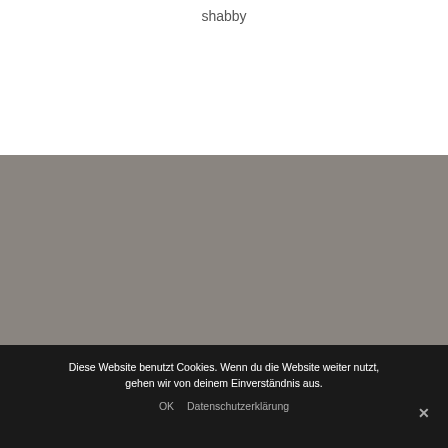shabby
[Figure (photo): Gray area representing a website screenshot background with a blurred or empty image area in medium gray tone, with a small lighter thumbnail box in the lower right corner.]
Diese Website benutzt Cookies. Wenn du die Website weiter nutzt, gehen wir von deinem Einverständnis aus.
OK   Datenschutzerklärung